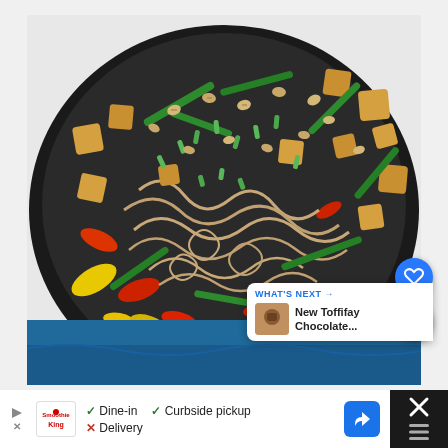[Figure (photo): Overhead photo of a cast iron skillet filled with pad thai noodles, tofu cubes, green beans, red and yellow peppers, scrambled egg, green onions, peanuts, and lime wedges on top, placed on a blue cloth napkin. Two circular blue buttons on the right: a heart/save icon and a share icon. A 'What's Next' card in bottom-right showing a thumbnail and text 'New Toffifay Chocolate...']
WHAT'S NEXT → New Toffifay Chocolate...
[Figure (screenshot): Advertisement bar at the bottom showing Smoothie King logo with play and close buttons on the left, checkmarks for 'Dine-in' and 'Curbside pickup', X for 'Delivery', a blue navigation/map button, and a dark panel on the right with an X and a grill/burger icon.]